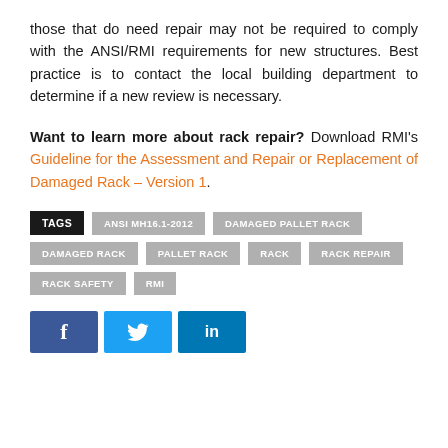those that do need repair may not be required to comply with the ANSI/RMI requirements for new structures. Best practice is to contact the local building department to determine if a new review is necessary.
Want to learn more about rack repair? Download RMI's Guideline for the Assessment and Repair or Replacement of Damaged Rack – Version 1.
TAGS: ANSI MH16.1-2012, DAMAGED PALLET RACK, DAMAGED RACK, PALLET RACK, RACK, RACK REPAIR, RACK SAFETY, RMI
[Figure (other): Social share buttons: Facebook, Twitter, LinkedIn]